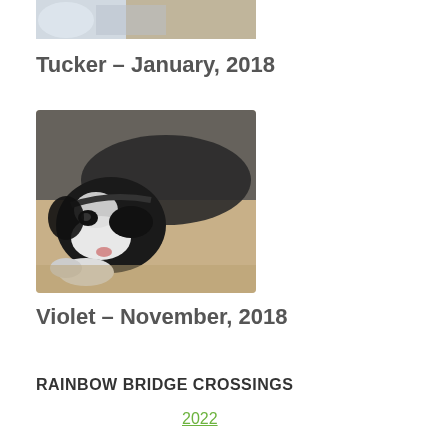[Figure (photo): Partial photo of Tucker, cropped at top, showing a person and a dog]
Tucker – January, 2018
[Figure (photo): Black and white dog (Violet) lying down on a tan/beige surface, resting its head on paws]
Violet – November, 2018
RAINBOW BRIDGE CROSSINGS
2022